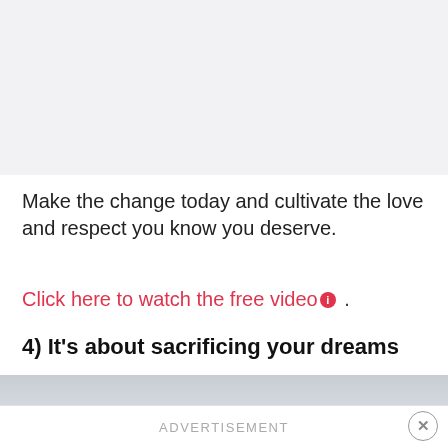[Figure (photo): Light gray/white background image area at the top of the page]
Make the change today and cultivate the love and respect you know you deserve.
Click here to watch the free video ℹ .
4) It's about sacrificing your dreams
[Figure (photo): Gray sky/clouds photo at the bottom with a bird silhouette]
ADVERTISEMENT